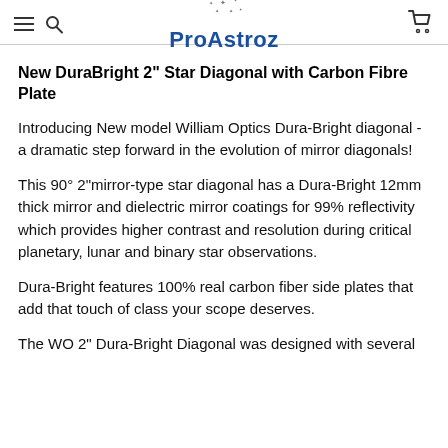ProAstroz
New DuraBright 2" Star Diagonal with Carbon Fibre Plate
Introducing New model William Optics Dura-Bright diagonal - a dramatic step forward in the evolution of mirror diagonals!
This 90° 2"mirror-type star diagonal has a Dura-Bright 12mm thick mirror and dielectric mirror coatings for 99% reflectivity which provides higher contrast and resolution during critical planetary, lunar and binary star observations.
Dura-Bright features 100% real carbon fiber side plates that add that touch of class your scope deserves.
The WO 2" Dura-Bright Diagonal was designed with several